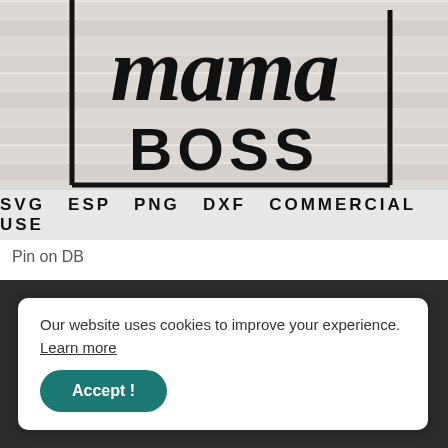[Figure (illustration): Decorative SVG design on wood-grain background showing cursive 'mama' above bold 'BOSS' text with bracket border, and a gray bar below reading 'SVG ESP PNG DXF COMMERCIAL USE']
Pin on DB
[Figure (photo): Partial dark background image at bottom of page, partially obscured by cookie banner]
Our website uses cookies to improve your experience.
Learn more
Accept !